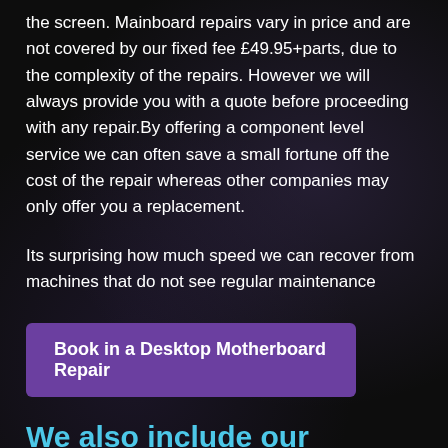the screen. Mainboard repairs vary in price and are not covered by our fixed fee £49.95+parts, due to the complexity of the repairs. However we will always provide you with a quote before proceeding with any repair.By offering a component level service we can often save a small fortune off the cost of the repair whereas other companies may only offer you a replacement.
Its surprising how much speed we can recover from machines that do not see regular maintenance
Book in a Desktop Motherboard Repair
We also include our Standard Tasks
During the screen replacement we will also carry out our standard Fixed Fee tasks, This includes Servicing the machine making sure it has no obstructions in air flow, we carry out health checks on the